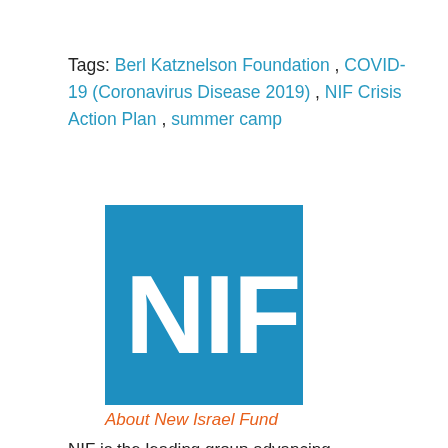Tags:  Berl Katznelson Foundation , COVID-19 (Coronavirus Disease 2019) , NIF Crisis Action Plan , summer camp
[Figure (logo): NIF (New Israel Fund) logo — white letters 'NIF' on a blue square background]
About New Israel Fund
NIF is the leading group advancing democracy and equality for all Israelis. Read